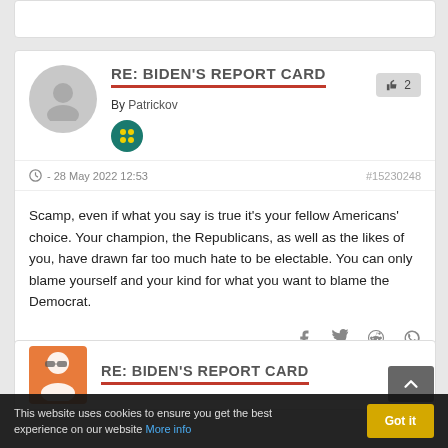RE: BIDEN'S REPORT CARD
By Patrickov
👍 2
- 28 May 2022 12:53   #15230248
Scamp, even if what you say is true it's your fellow Americans' choice. Your champion, the Republicans, as well as the likes of you, have drawn far too much hate to be electable. You can only blame yourself and your kind for what you want to blame the Democrat.
RE: BIDEN'S REPORT CARD
This website uses cookies to ensure you get the best experience on our website More info
Got it